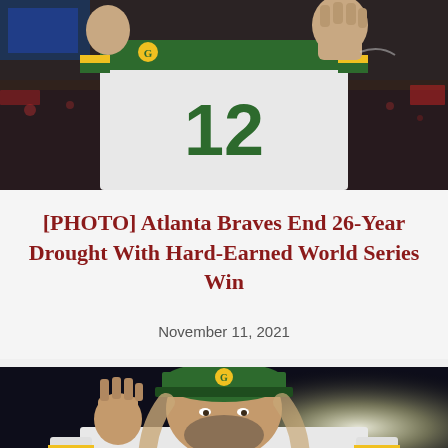[Figure (photo): Green Bay Packers player #12 in white jersey with green and yellow stripes, fist raised in celebration, crowd in background]
[PHOTO] Atlanta Braves End 26-Year Drought With Hard-Earned World Series Win
November 11, 2021
[Figure (photo): Green Bay Packers player with long hair and beard, wearing green cap and white jersey, fist raised, bright stadium light in background]